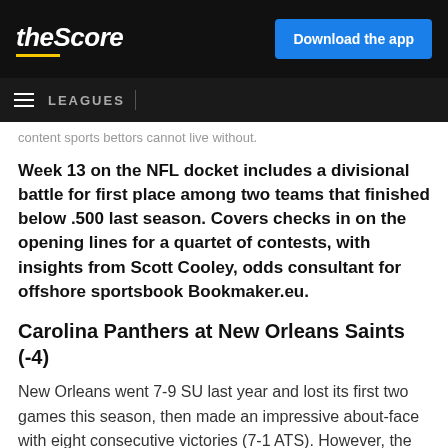theScore | Download the app
LEAGUES
content sports bettors cannot live without.
Week 13 on the NFL docket includes a divisional battle for first place among two teams that finished below .500 last season. Covers checks in on the opening lines for a quartet of contests, with insights from Scott Cooley, odds consultant for offshore sportsbook Bookmaker.eu.
Carolina Panthers at New Orleans Saints (-4)
New Orleans went 7-9 SU last year and lost its first two games this season, then made an impressive about-face with eight consecutive victories (7-1 ATS). However, the win streak came to an end Sunday for the Saints (8-3 SU, 7-4 ATS), who lost to the Los Angeles Rams 26-23 on a 35-yard game-winning field goal.